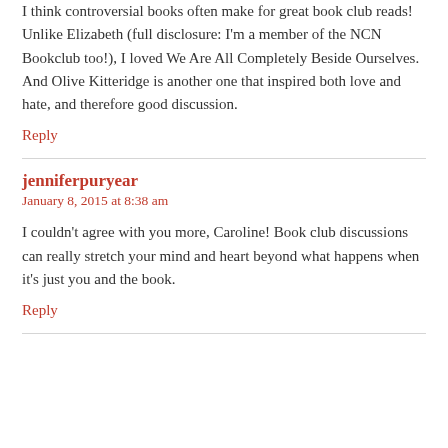I think controversial books often make for great book club reads! Unlike Elizabeth (full disclosure: I'm a member of the NCN Bookclub too!), I loved We Are All Completely Beside Ourselves. And Olive Kitteridge is another one that inspired both love and hate, and therefore good discussion.
Reply
jenniferpuryear
January 8, 2015 at 8:38 am
I couldn't agree with you more, Caroline! Book club discussions can really stretch your mind and heart beyond what happens when it's just you and the book.
Reply